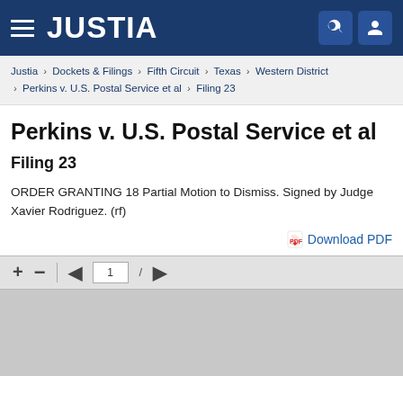JUSTIA
Justia › Dockets & Filings › Fifth Circuit › Texas › Western District › Perkins v. U.S. Postal Service et al › Filing 23
Perkins v. U.S. Postal Service et al
Filing 23
ORDER GRANTING 18 Partial Motion to Dismiss. Signed by Judge Xavier Rodriguez. (rf)
Download PDF
[Figure (screenshot): PDF viewer toolbar with zoom controls and page navigation showing page 1]